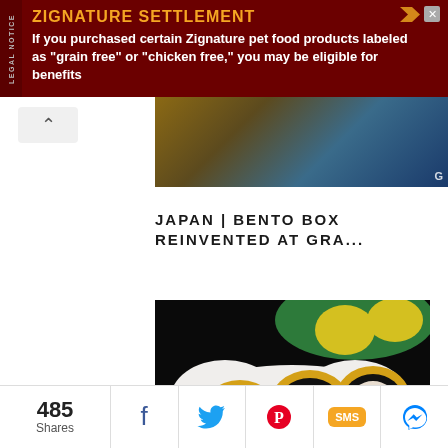[Figure (other): Legal notice advertisement banner for Zignature Settlement — dark red background with yellow-orange title and white body text]
[Figure (photo): Partial photo of a Japanese restaurant interior showing wooden furniture and blue wall]
JAPAN | BENTO BOX REINVENTED AT GRA...
[Figure (photo): Close-up photo of Japanese sushi rolls with yellow egg wrapper and dark seaweed on a white decorative plate with green rim]
485 Shares
[Figure (infographic): Social sharing bar with Facebook, Twitter, Pinterest, SMS, and Messenger buttons]